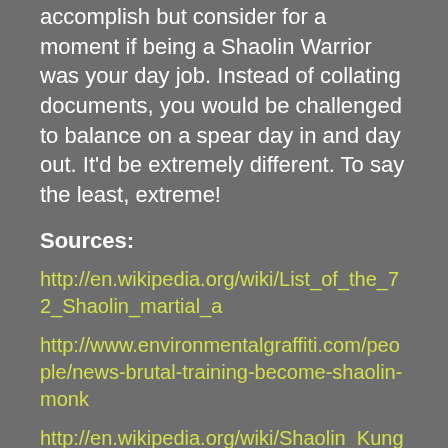accomplish but consider for a moment if being a Shaolin Warrior was your day job. Instead of collating documents, you would be challenged to balance on a spear day in and day out. It'd be extremely different. To say the least, extreme!
Sources:
http://en.wikipedia.org/wiki/List_of_the_72_Shaolin_martial_a
http://www.environmentalgraffiti.com/people/news-brutal-training-become-shaolin-monk
http://en.wikipedia.org/wiki/Shaolin_Kung_Fu
http://www.webexhibits.org/calendars/calendar-chinese.html